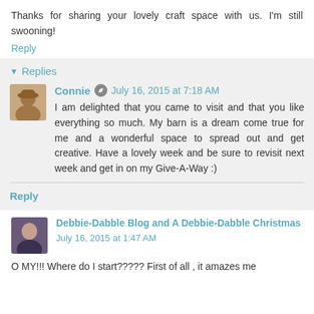Thanks for sharing your lovely craft space with us. I'm still swooning!
Reply
Replies
Connie  July 16, 2015 at 7:18 AM
I am delighted that you came to visit and that you like everything so much. My barn is a dream come true for me and a wonderful space to spread out and get creative. Have a lovely week and be sure to revisit next week and get in on my Give-A-Way :)
Reply
Debbie-Dabble Blog and A Debbie-Dabble Christmas  July 16, 2015 at 1:47 AM
O MY!!! Where do I start????? First of all , it amazes me